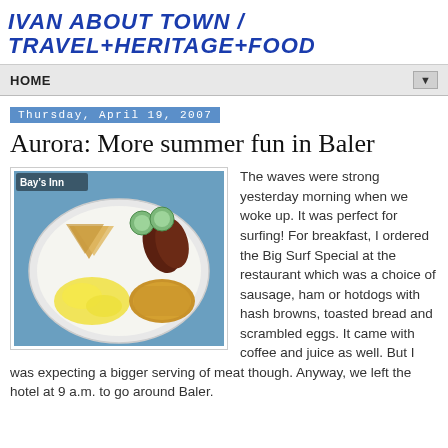IVAN ABOUT TOWN / TRAVEL+HERITAGE+FOOD
HOME
Thursday, April 19, 2007
Aurora: More summer fun in Baler
[Figure (photo): A plate of breakfast food at Bay's Inn showing scrambled eggs, hash browns, toasted bread triangles, sausages, and cucumber slices on a white plate]
The waves were strong yesterday morning when we woke up. It was perfect for surfing! For breakfast, I ordered the Big Surf Special at the restaurant which was a choice of sausage, ham or hotdogs with hash browns, toasted bread and scrambled eggs. It came with coffee and juice as well. But I was expecting a bigger serving of meat though. Anyway, we left the hotel at 9 a.m. to go around Baler.